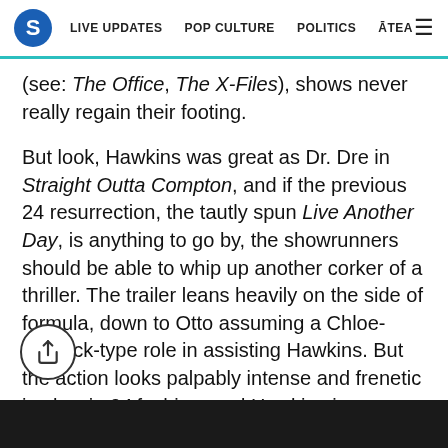S  LIVE UPDATES  POP CULTURE  POLITICS  ĀTEA  ≡
(see: The Office, The X-Files), shows never really regain their footing.
But look, Hawkins was great as Dr. Dre in Straight Outta Compton, and if the previous 24 resurrection, the tautly spun Live Another Day, is anything to go by, the showrunners should be able to whip up another corker of a thriller. The trailer leans heavily on the side of formula, down to Otto assuming a Chloe-sidekick-type role in assisting Hawkins. But the action looks palpably intense and frenetic in classic 24 fashion, and Hawkins is comfortable getting dirty.